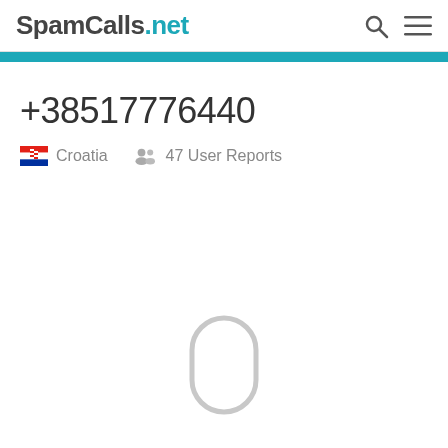SpamCalls.net
+38517776440
Croatia   47 User Reports
[Figure (other): Large numeral 0 displayed in light gray with rounded rectangular border, representing zero spam ratings or comments]